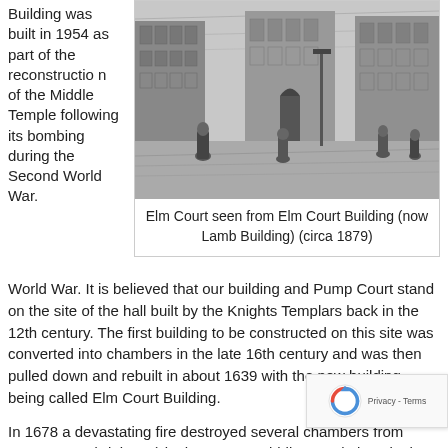Building was built in 1954 as part of the reconstruction of the Middle Temple following its bombing during the Second World War.
[Figure (illustration): Black and white engraving of Elm Court seen from Elm Court Building, showing a Victorian-era London street scene with multi-storey buildings and several figures in the foreground, circa 1879.]
Elm Court seen from Elm Court Building (now Lamb Building) (circa 1879)
It is believed that our building and Pump Court stand on the site of the hall built by the Knights Templars back in the 12th century. The first building to be constructed on this site was converted into chambers in the late 16th century and was then pulled down and rebuilt in about 1639 with the new building being called Elm Court Building.
In 1678 a devastating fire destroyed several chambers from Pump Court (Cloisters) in the East to Middle Temple lane in the West.